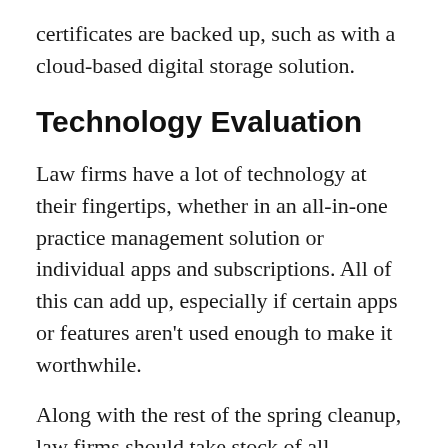certificates are backed up, such as with a cloud-based digital storage solution.
Technology Evaluation
Law firms have a lot of technology at their fingertips, whether in an all-in-one practice management solution or individual apps and subscriptions. All of this can add up, especially if certain apps or features aren't used enough to make it worthwhile.
Along with the rest of the spring cleanup, law firms should take stock of all technology expenses for the firm and evaluate which